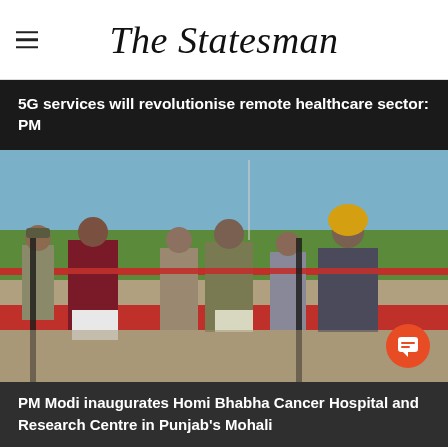The Statesman
5G services will revolutionise remote healthcare sector: PM
[Figure (photo): PM Modi and other dignitaries cutting a ribbon at the inauguration of Homi Bhabha Cancer Hospital and Research Centre in Punjab's Mohali]
PM Modi inaugurates Homi Bhabha Cancer Hospital and Research Centre in Punjab's Mohali